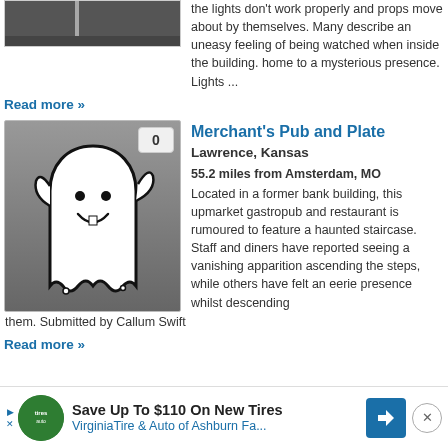[Figure (photo): Partial image of a dark haunted-looking building, cropped at top]
the lights don't work properly and props move about by themselves. Many describe an uneasy feeling of being watched when inside the building. home to a mysterious presence. Lights ...
Read more »
[Figure (illustration): Cartoon ghost icon on a grey gradient background with badge showing 0]
Merchant's Pub and Plate
Lawrence, Kansas
55.2 miles from Amsterdam, MO
Located in a former bank building, this upmarket gastropub and restaurant is rumoured to feature a haunted staircase. Staff and diners have reported seeing a vanishing apparition ascending the steps, while others have felt an eerie presence whilst descending them. Submitted by Callum Swift
Read more »
Save Up To $110 On New Tires  VirginiaTire & Auto of Ashburn Fa...